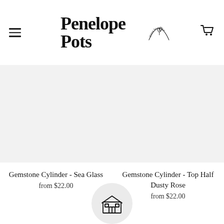Penelope Pots green boutique
Gemstone Cylinder - Sea Glass
from $22.00
Gemstone Cylinder - Top Half Dusty Rose
from $22.00
[Figure (illustration): Store/shop building icon inside a circular grey background at the bottom center of the page]